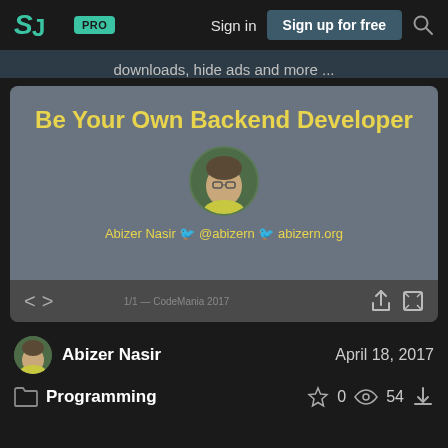SJ PRO  Sign in  Sign up for free
downloads, hide ads and more ...
[Figure (screenshot): SlideShare presentation slide titled 'Be Your Own Backend Developer' by Abizer Nasir @abizern abizern.org, with a circular avatar illustration of the author]
Abizer Nasir   April 18, 2017
Programming   ☆ 0   👁 54   ⬇